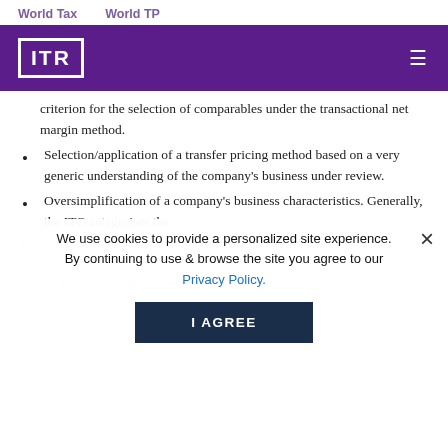World Tax    World TP
[Figure (logo): ITR logo in white on purple background header bar with hamburger menu icon]
criterion for the selection of comparables under the transactional net margin method.
Selection/application of a transfer pricing method based on a very generic understanding of the company's business under review.
Oversimplification of a company's business characteristics. Generally, the ITO categorises the characteristics of a company as toll manufacturing, ... placed into one of the aforementioned groups.
We use cookies to provide a personalized site experience. By continuing to use & browse the site you agree to our Privacy Policy.
Over the years the ITO... understanding of transfer pricing has increased, although its interest in transfer pricing issues is still driven by the intention to fulfill the